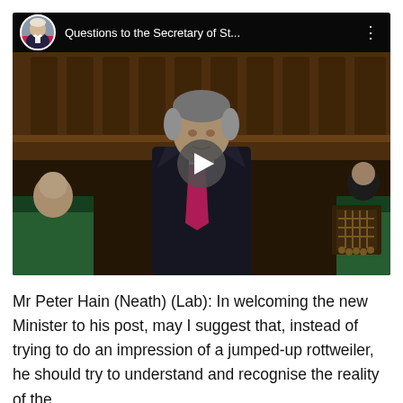[Figure (screenshot): Video thumbnail/screenshot of a parliamentary session showing a man in a dark suit with a pink/magenta tie speaking at the despatch box in the House of Commons chamber. The video player shows a play button overlay. A top bar shows a circular avatar photo of an older man and the title 'Questions to the Secretary of St...' with a three-dot menu icon.]
Mr Peter Hain (Neath) (Lab): In welcoming the new Minister to his post, may I suggest that, instead of trying to do an impression of a jumped-up rottweiler, he should try to understand and recognise the reality of the